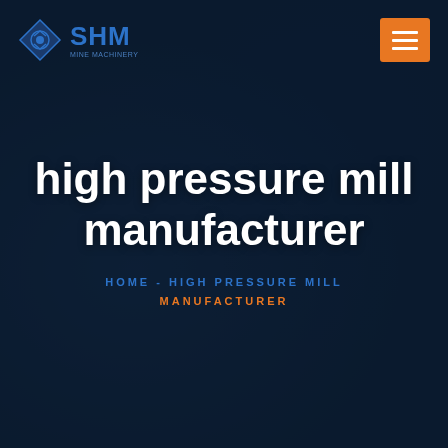[Figure (logo): SHM company logo with blue diamond icon and SHM text in blue]
[Figure (illustration): Orange hamburger menu button in top right corner]
high pressure mill manufacturer
HOME - HIGH PRESSURE MILL MANUFACTURER